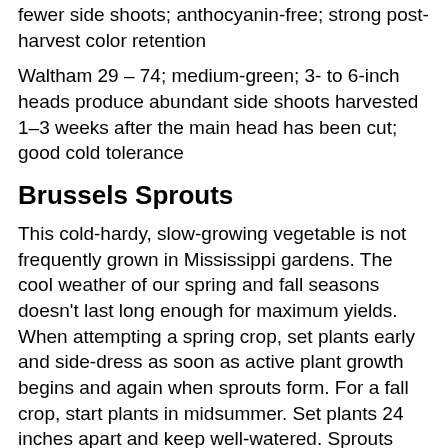fewer side shoots; anthocyanin-free; strong post-harvest color retention
Waltham 29 – 74; medium-green; 3- to 6-inch heads produce abundant side shoots harvested 1–3 weeks after the main head has been cut; good cold tolerance
Brussels Sprouts
This cold-hardy, slow-growing vegetable is not frequently grown in Mississippi gardens. The cool weather of our spring and fall seasons doesn't last long enough for maximum yields. When attempting a spring crop, set plants early and side-dress as soon as active plant growth begins and again when sprouts form. For a fall crop, start plants in midsummer. Set plants 24 inches apart and keep well-watered. Sprouts develop where leaves join the main stem. As sprouts develop, do not remove leaves. Lower sprouts mature first, and you can cut leaves when you harvest sprouts. Heat causes soft